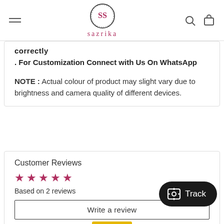sazrika — navigation header with logo, hamburger menu, search and cart icons
correctly
. For Customization Connect with Us On WhatsApp
NOTE : Actual colour of product may slight vary due to brightness and camera quality of different devices.
Customer Reviews
[Figure (other): 5-star rating display in dark red/maroon color]
Based on 2 reviews
Write a review